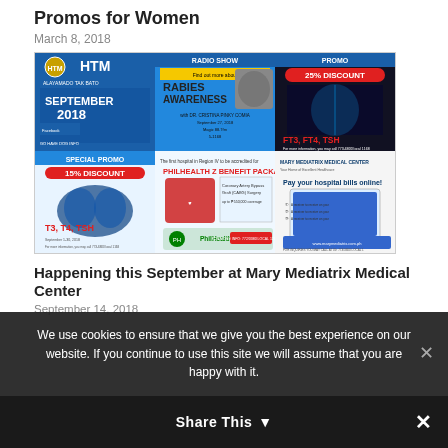Promos for Women
March 8, 2018
[Figure (infographic): Mary Mediatrix Medical Center promotional banners showing HTM September 2018 radio show, Rabies Awareness program, 25% Discount on FT3 FT4 TSH, 15% Discount on T3 T4 TSH special promo, PhilHealth Z Benefit Package for Coronary Artery Bypass Graft (CABG) Surgery, and Pay your hospital bills online.]
Happening this September at Mary Mediatrix Medical Center
September 14, 2018
We use cookies to ensure that we give you the best experience on our website. If you continue to use this site we will assume that you are happy with it.
Share This